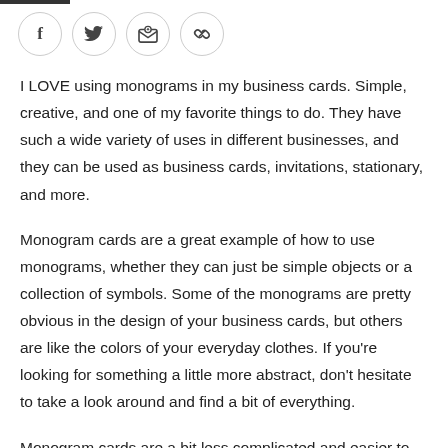[Figure (other): Social sharing icons row: Facebook (f), Twitter (bird), Email (envelope with gear), Link (chain link) — each inside a circular outlined button]
I LOVE using monograms in my business cards. Simple, creative, and one of my favorite things to do. They have such a wide variety of uses in different businesses, and they can be used as business cards, invitations, stationary, and more.
Monogram cards are a great example of how to use monograms, whether they can just be simple objects or a collection of symbols. Some of the monograms are pretty obvious in the design of your business cards, but others are like the colors of your everyday clothes. If you're looking for something a little more abstract, don't hesitate to take a look around and find a bit of everything.
Monogram cards are a bit less complicated and easier to